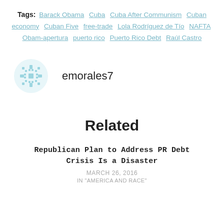Tags: Barack Obama  Cuba  Cuba After Communism  Cuban economy  Cuban Five  free-trade  Lola Rodríguez de Tío  NAFTA  Obam-apertura  puerto rico  Puerto Rico Debt  Raúl Castro
[Figure (illustration): Snowflake/geometric pattern avatar icon in light blue]
emorales7
Related
Republican Plan to Address PR Debt Crisis Is a Disaster
MARCH 26, 2016
IN "AMERICA AND RACE"